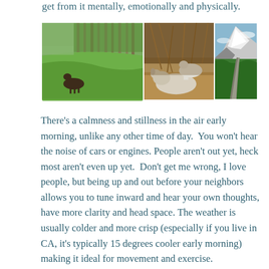get from it mentally, emotionally and physically.
[Figure (photo): Three nature photos side by side: left shows a green hillside with tall trees and a dark horse grazing; center shows goats resting in dry brush; right shows a snowy mountain peak with a green road and trees in the foreground.]
There's a calmness and stillness in the air early morning, unlike any other time of day. You won't hear the noise of cars or engines. People aren't out yet, heck most aren't even up yet. Don't get me wrong, I love people, but being up and out before your neighbors allows you to tune inward and hear your own thoughts, have more clarity and head space. The weather is usually colder and more crisp (especially if you live in CA, it's typically 15 degrees cooler early morning) making it ideal for movement and exercise.